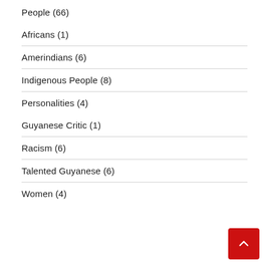People (66)
Africans (1)
Amerindians (6)
Indigenous People (8)
Personalities (4)
Guyanese Critic (1)
Racism (6)
Talented Guyanese (6)
Women (4)